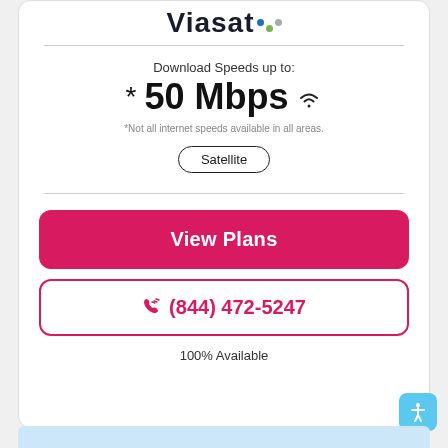Viasat
Download Speeds up to:
*50 Mbps
*Not all internet speeds available in all areas.
Satellite
View Plans
(844) 472-5247
100% Available